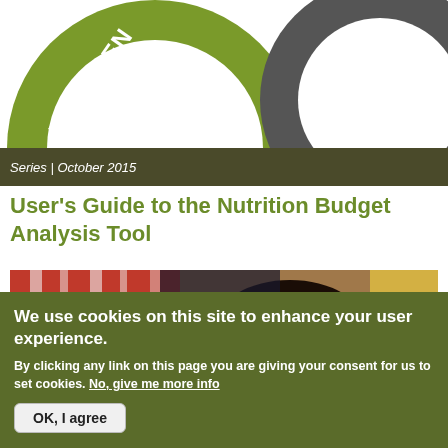[Figure (illustration): Partial view of overlapping circles with text fragments 'PLEMEN' (olive green circle) and 'OTIATION PROVAL' (dark grey circle) on white background — decorative graphic element for a report cover.]
Series | October 2015
User's Guide to the Nutrition Budget Analysis Tool
[Figure (photo): Photo of a young African child with braided hair adorned with colorful clips, looking directly at camera, with an adult in a red and white patterned garment nearby.]
We use cookies on this site to enhance your user experience.
By clicking any link on this page you are giving your consent for us to set cookies. No, give me more info
OK, I agree